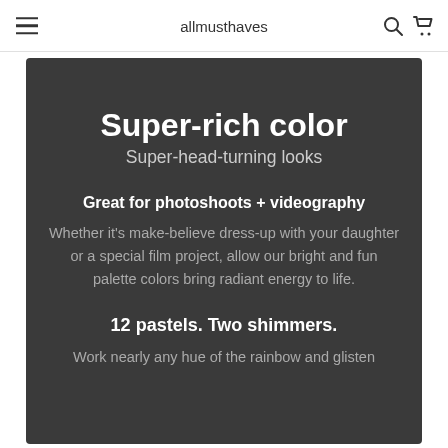allmusthaves
Super-rich color
Super-head-turning looks
Great for photoshoots + videography
Whether it’s make-believe dress-up with your daughter or a special film project, allow our bright and fun palette colors bring radiant energy to life.
12 pastels. Two shimmers.
Work nearly any hue of the rainbow and glisten